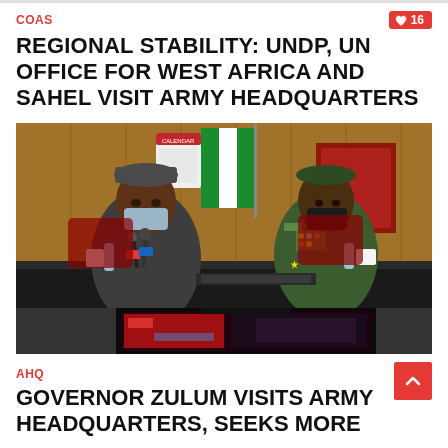COAS
♡ 16
REGIONAL STABILITY: UNDP, UN OFFICE FOR WEST AFRICA AND SAHEL VISIT ARMY HEADQUARTERS
[Figure (photo): Two officials seated at a conference table, both wearing face masks. The man on the left is in civilian attire with a traditional cap, and the man on the right is in military uniform with medals. A Nigerian flag is visible in the background. A TV screen is visible in the lower portion showing a red-lit room.]
AHQ
GOVERNOR ZULUM VISITS ARMY HEADQUARTERS, SEEKS MORE